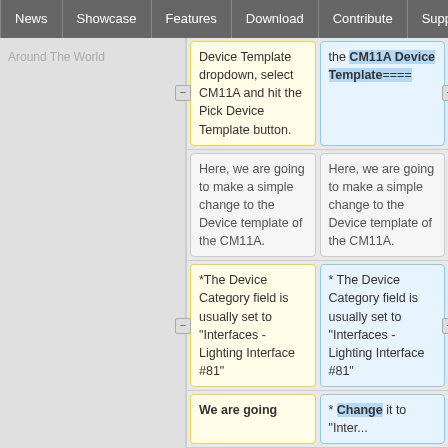News | Showcase | Features | Download | Contribute | Support
Around The World
Device Template dropdown, select CM11A and hit the Pick Device Template button.
the CM11A Device Template====
Here, we are going to make a simple change to the Device template of the CM11A.
Here, we are going to make a simple change to the Device template of the CM11A.
*The Device Category field is usually set to "Interfaces - Lighting Interface #81"
* The Device Category field is usually set to "Interfaces - Lighting Interface #81"
We are going
* Change it to "Inter...